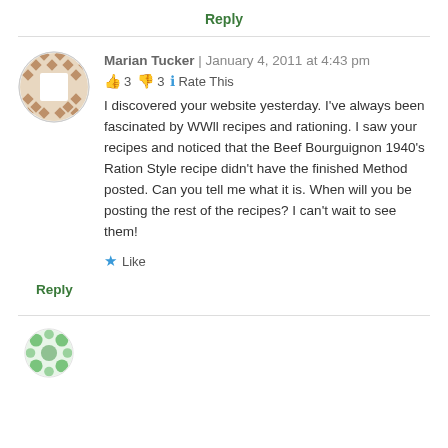Reply
Marian Tucker | January 4, 2011 at 4:43 pm
👍 3 👎 3 ℹ Rate This
I discovered your website yesterday. I've always been fascinated by WWll recipes and rationing. I saw your recipes and noticed that the Beef Bourguignon 1940's Ration Style recipe didn't have the finished Method posted. Can you tell me what it is. When will you be posting the rest of the recipes? I can't wait to see them!
★ Like
Reply